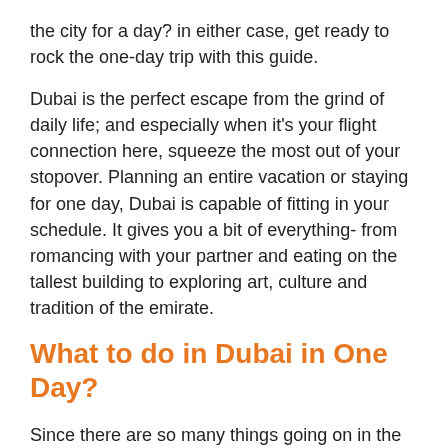the city for a day? in either case, get ready to rock the one-day trip with this guide.
Dubai is the perfect escape from the grind of daily life; and especially when it's your flight connection here, squeeze the most out of your stopover. Planning an entire vacation or staying for one day, Dubai is capable of fitting in your schedule. It gives you a bit of everything- from romancing with your partner and eating on the tallest building to exploring art, culture and tradition of the emirate.
What to do in Dubai in One Day?
Since there are so many things going on in the city, stacking only the important activities can be overwhelming. With a whole 24 hours in Dubai, you can divide the tour into old and new cities. This is not an hour to hour routine but the overall gist a of a day to let you spend as many hours in your favourite destination